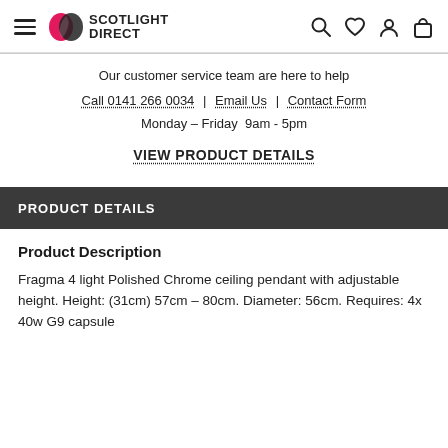Scotlight Direct — navigation header with hamburger menu, logo, search, wishlist, account, and cart icons
Our customer service team are here to help
Call 0141 266 0034 | Email Us | Contact Form
Monday – Friday  9am - 5pm
VIEW PRODUCT DETAILS
PRODUCT DETAILS
Product Description
Fragma 4 light Polished Chrome ceiling pendant with adjustable height. Height: (31cm) 57cm – 80cm. Diameter: 56cm. Requires: 4x 40w G9 capsule